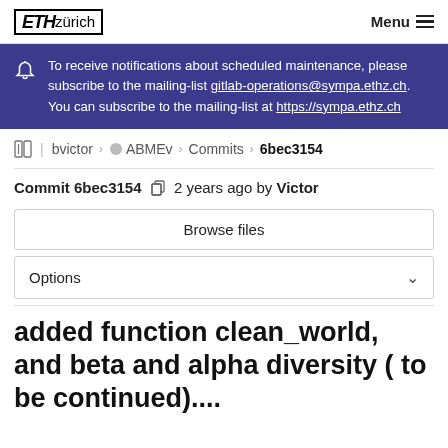ETH zürich  Menu
To receive notifications about scheduled maintenance, please subscribe to the mailing-list gitlab-operations@sympa.ethz.ch. You can subscribe to the mailing-list at https://sympa.ethz.ch
bvictor > ABMEv > Commits > 6bec3154
Commit 6bec3154  2 years ago by Victor
Browse files
Options
added function clean_world, and beta and alpha diversity ( to be continued)....